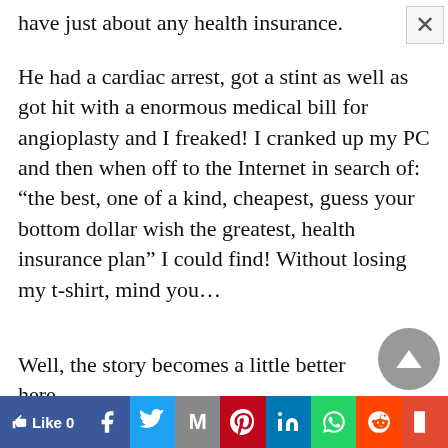have just about any health insurance.
He had a cardiac arrest, got a stint as well as got hit with a enormous medical bill for angioplasty and I freaked! I cranked up my PC and then when off to the Internet in search of: “the best, one of a kind, cheapest, guess your bottom dollar wish the greatest, health insurance plan” I could find! Without losing my t-shirt, mind you…
Well, the story becomes a little better here…
[Figure (screenshot): Social share bar with Like (0), Facebook, Twitter, Gmail, Pinterest, LinkedIn, WhatsApp, Reddit, Flipboard buttons]